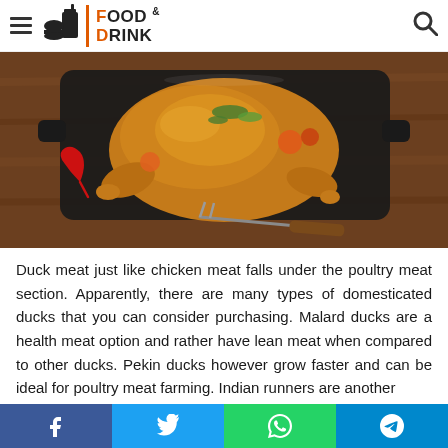Food & Drink
[Figure (photo): A whole roasted duck/chicken in a dark roasting pan on a wooden table, garnished with herbs, tomatoes, and with red chili peppers and a carving fork beside it.]
Duck meat just like chicken meat falls under the poultry meat section. Apparently, there are many types of domesticated ducks that you can consider purchasing. Malard ducks are a health meat option and rather have lean meat when compared to other ducks. Pekin ducks however grow faster and can be ideal for poultry meat farming. Indian runners are another
Social share buttons: Facebook, Twitter, WhatsApp, Telegram